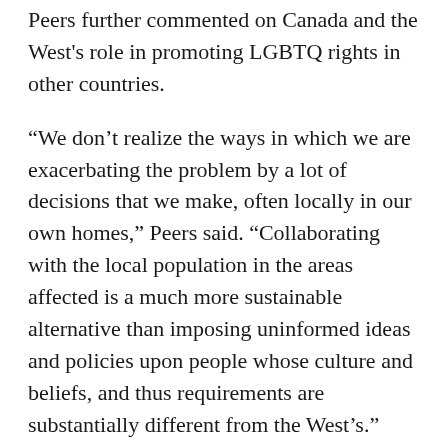Peers further commented on Canada and the West's role in promoting LGBTQ rights in other countries.
“We don’t realize the ways in which we are exacerbating the problem by a lot of decisions that we make, often locally in our own homes,” Peers said. “Collaborating with the local population in the areas affected is a much more sustainable alternative than imposing uninformed ideas and policies upon people whose culture and beliefs, and thus requirements are substantially different from the West’s.”
“We should work across movements [as] we got where we are because movements and fights found some commonality in what was oppressing them,” Selun advised.
Panelists also discussed the idea of broadening the